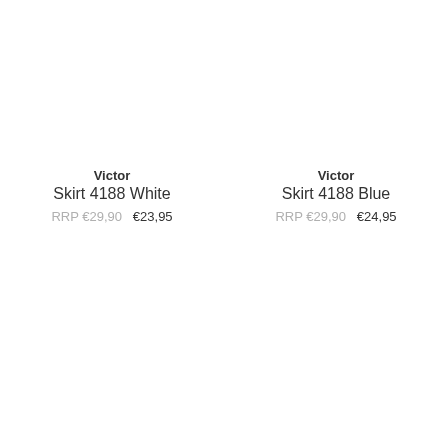Victor
Skirt 4188 White
RRP €29,90   €23,95
Victor
Skirt 4188 Blue
RRP €29,90   €24,95